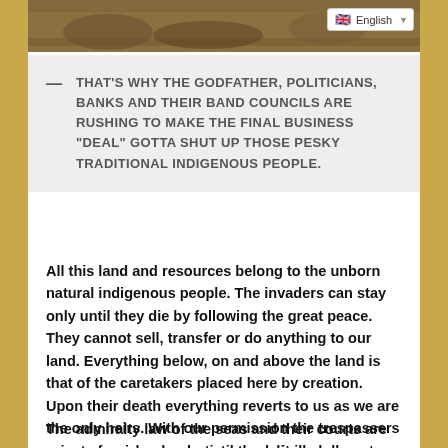[Figure (photo): Partial image visible at the top of the page showing rocks and natural landscape, with an English language selector badge in the top right corner.]
— THAT'S WHY THE GODFATHER, POLITICIANS, BANKS AND THEIR BAND COUNCILS ARE RUSHING TO MAKE THE FINAL BUSINESS "DEAL" GOTTA SHUT UP THOSE PESKY TRADITIONAL INDIGENOUS PEOPLE.
All this land and resources belong to the unborn natural indigenous people. The invaders can stay only until they die by following the great peace. They cannot sell, transfer or do anything to our land. Everything below, on and above the land is that of the caretakers placed here by creation. Upon their death everything reverts to us as we are the only heirs. With our permission the trespassers may use our land only until they die and cannot turn our property over to anybody.
The admiralty law of the seas and their courts are private foreign corporations and sit illegally on our